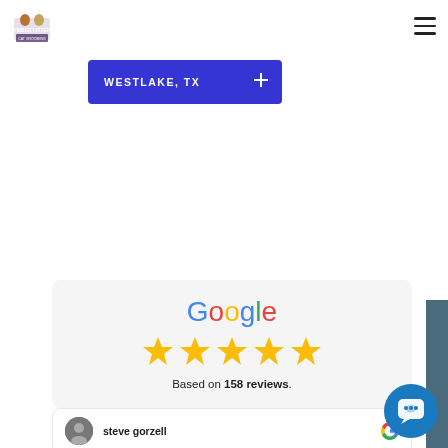[Figure (logo): Small business logo with animal mascot in top left corner]
[Figure (illustration): Hamburger/menu icon in top right corner]
[Figure (illustration): Blue button/banner with text WESTLAKE, TX and a location pin icon]
[Figure (illustration): Google 5-star rating card showing Google logo, five gold stars, and text Based on 158 reviews.]
Based on 158 reviews.
[Figure (illustration): Review card showing reviewer avatar, name steve gorzell, and Google G icon]
[Figure (illustration): Dark blue vertical bar on right side]
[Figure (illustration): Teal/blue chat bubble widget in bottom right]